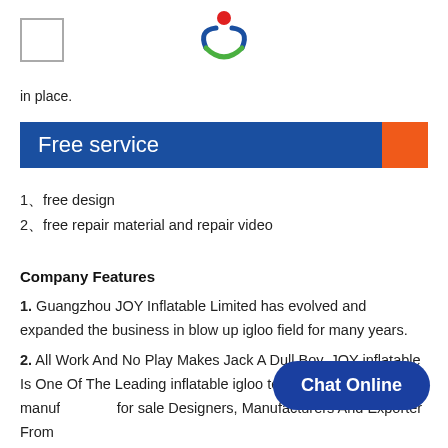[Figure (logo): JOY Inflatable logo with colorful figure and 'JW' style symbol at top center; small checkbox square at top left]
in place.
Free service
1、free design
2、free repair material and repair video
Company Features
1. Guangzhou JOY Inflatable Limited has evolved and expanded the business in blow up igloo field for many years.
2. All Work And No Play Makes Jack A Dull Boy. JOY inflatable Is One Of The Leading inflatable igloo tent, inflatable tent manufacturers for sale Designers, Manufacturers And Exporter From
Chat Online